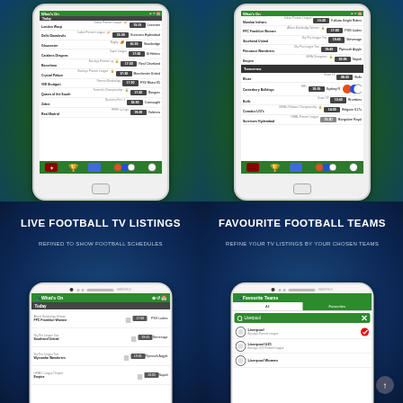[Figure (screenshot): Mobile app screenshot showing football TV schedule with match times and teams (left phone)]
[Figure (screenshot): Mobile app screenshot showing football TV schedule including Tomorrow section (right phone)]
[Figure (screenshot): Live Football TV Listings panel with phone showing What's On screen]
[Figure (screenshot): Favourite Football Teams panel with phone showing team selection screen]